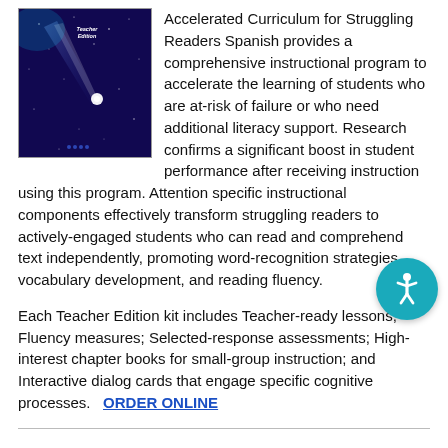[Figure (photo): Book cover for Accelerated Curriculum for Struggling Readers Spanish Teacher Edition, showing a comet or shooting star against a dark blue/purple starry background.]
Accelerated Curriculum for Struggling Readers Spanish provides a comprehensive instructional program to accelerate the learning of students who are at-risk of failure or who need additional literacy support. Research confirms a significant boost in student performance after receiving instruction using this program. Attention specific instructional components effectively transform struggling readers to actively-engaged students who can read and comprehend text independently, promoting word-recognition strategies, vocabulary development, and reading fluency.
Each Teacher Edition kit includes Teacher-ready lessons; Fluency measures; Selected-response assessments; High-interest chapter books for small-group instruction; and Interactive dialog cards that engage specific cognitive processes.   ORDER ONLINE